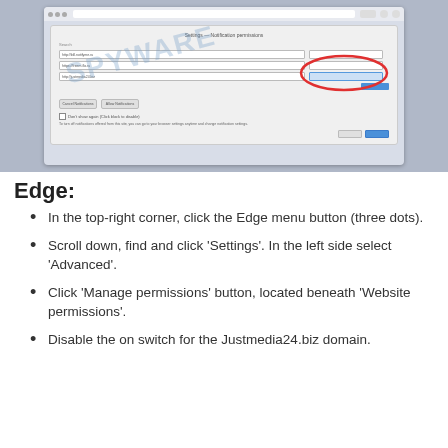[Figure (screenshot): Screenshot of a browser settings dialog for managing website permissions, with a red oval highlighting a dropdown selector area and a blue button visible. A watermark reading 'SPYWARE' is overlaid on the screenshot.]
Edge:
In the top-right corner, click the Edge menu button (three dots).
Scroll down, find and click ‘Settings’. In the left side select ‘Advanced’.
Click ‘Manage permissions’ button, located beneath ‘Website permissions’.
Disable the on switch for the Justmedia24.biz domain.